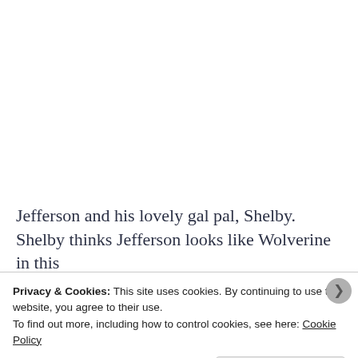Jefferson and his lovely gal pal, Shelby. Shelby thinks Jefferson looks like Wolverine in this
Privacy & Cookies: This site uses cookies. By continuing to use this website, you agree to their use.
To find out more, including how to control cookies, see here: Cookie Policy
Close and accept